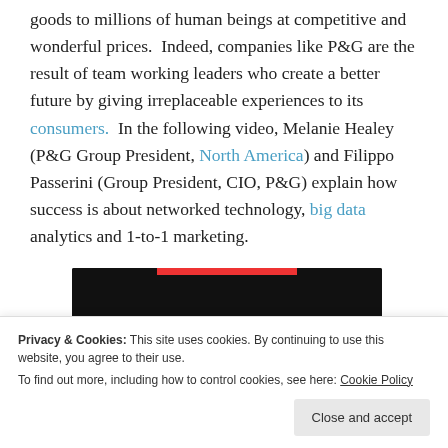goods to millions of human beings at competitive and wonderful prices.  Indeed, companies like P&G are the result of team working leaders who create a better future by giving irreplaceable experiences to its consumers.  In the following video, Melanie Healey (P&G Group President, North America) and Filippo Passerini (Group President, CIO, P&G) explain how success is about networked technology, big data analytics and 1-to-1 marketing.
[Figure (screenshot): Partially visible video thumbnail with dark/black background and a circular logo with 'sensai' text visible in the lower right corner.]
Privacy & Cookies: This site uses cookies. By continuing to use this website, you agree to their use.
To find out more, including how to control cookies, see here: Cookie Policy
Close and accept